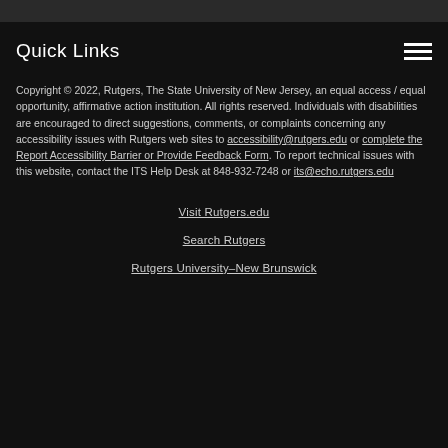Quick Links
Copyright © 2022, Rutgers, The State University of New Jersey, an equal access / equal opportunity, affirmative action institution. All rights reserved. Individuals with disabilities are encouraged to direct suggestions, comments, or complaints concerning any accessibility issues with Rutgers web sites to accessibility@rutgers.edu or complete the Report Accessibility Barrier or Provide Feedback Form. To report technical issues with this website, contact the ITS Help Desk at 848-932-7248 or its@echo.rutgers.edu
Visit Rutgers.edu
Search Rutgers
Rutgers University–New Brunswick